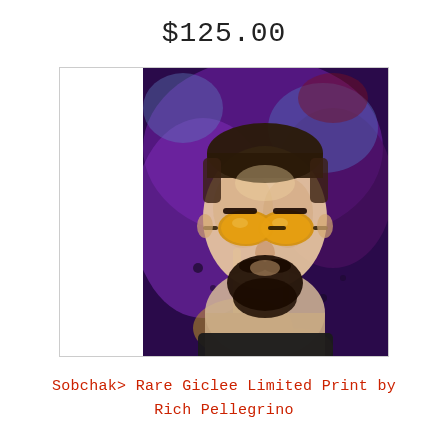$125.00
[Figure (illustration): Portrait painting of a man with dark beard and mustache, yellow tinted aviator sunglasses, dark hair, wearing a dark shirt. Background is abstract expressionist style with purple, violet, blue, gold and yellow paint splatters and drips. The portrait has a loose, painterly quality with heavy texture.]
Sobchak> Rare Giclee Limited Print by Rich Pellegrino